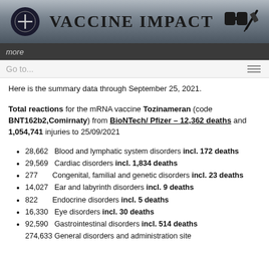[Figure (logo): Vaccine Impact website header banner with logo icon on left, 'VACCINE IMPACT' title in center, binoculars and syringe icon on right, on a grey gradient background]
more
Go to...
Here is the summary data through September 25, 2021.
Total reactions for the mRNA vaccine Tozinameran (code BNT162b2,Comirnaty) from BioNTech/ Pfizer – 12,362 deaths and 1,054,741 injuries to 25/09/2021
28,662   Blood and lymphatic system disorders incl. 172 deaths
29,569   Cardiac disorders incl. 1,834 deaths
277       Congenital, familial and genetic disorders incl. 23 deaths
14,027   Ear and labyrinth disorders incl. 9 deaths
822       Endocrine disorders incl. 5 deaths
16,330   Eye disorders incl. 30 deaths
92,590   Gastrointestinal disorders incl. 514 deaths
274,633  General disorders and administration site...